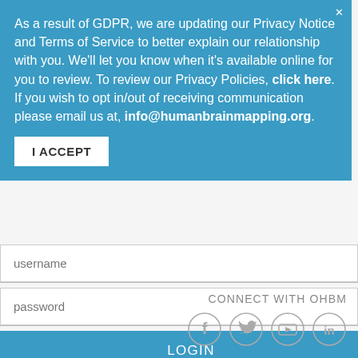As a result of GDPR, we are updating our Privacy Notice and Terms of Service to better explain our relationship with you. We'll let you know when it's available online for you to review. To review our Privacy Policies, click here. If you wish to opt in/out of receiving communication please email us at, info@humanbrainmapping.org.
I ACCEPT
username
password
LOGIN
JOIN NOW
Reset password
CONNECT WITH OHBM
[Figure (infographic): Four social media icons in circles: Facebook (f), Twitter (bird), YouTube (play button), LinkedIn (in)]